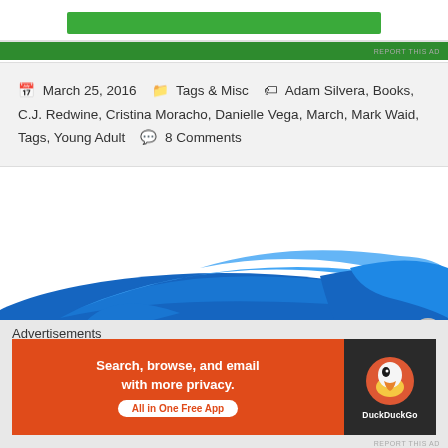[Figure (screenshot): Green advertisement banner at top of page]
REPORT THIS AD
March 25, 2016   Tags & Misc   Adam Silvera, Books, C.J. Redwine, Cristina Moracho, Danielle Vega, March, Mark Waid, Tags, Young Adult   8 Comments
[Figure (illustration): Blue painted brushstroke image with 'Top' text in white bold letters]
Advertisements
[Figure (screenshot): DuckDuckGo advertisement: Search, browse, and email with more privacy. All in One Free App]
REPORT THIS AD